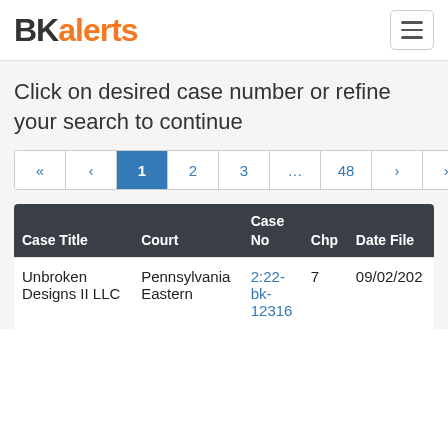BKalerts
Click on desired case number or refine your search to continue
| Case Title | Court | Case No | Chp | Date Filed |
| --- | --- | --- | --- | --- |
| Unbroken Designs II LLC | Pennsylvania Eastern | 2:22-bk-12316 | 7 | 09/02/202 |